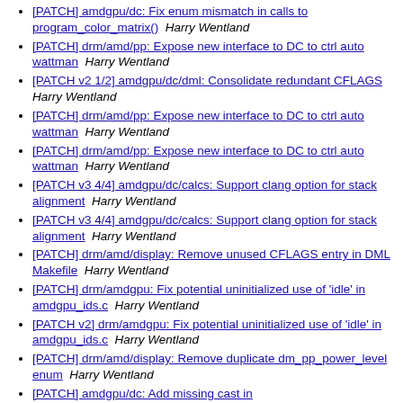[PATCH] amdgpu/dc: Fix enum mismatch in calls to program_color_matrix()  Harry Wentland
[PATCH] drm/amd/pp: Expose new interface to DC to ctrl auto wattman  Harry Wentland
[PATCH v2 1/2] amdgpu/dc/dml: Consolidate redundant CFLAGS  Harry Wentland
[PATCH] drm/amd/pp: Expose new interface to DC to ctrl auto wattman  Harry Wentland
[PATCH] drm/amd/pp: Expose new interface to DC to ctrl auto wattman  Harry Wentland
[PATCH v3 4/4] amdgpu/dc/calcs: Support clang option for stack alignment  Harry Wentland
[PATCH v3 4/4] amdgpu/dc/calcs: Support clang option for stack alignment  Harry Wentland
[PATCH] drm/amd/display: Remove unused CFLAGS entry in DML Makefile  Harry Wentland
[PATCH] drm/amdgpu: Fix potential uninitialized use of 'idle' in amdgpu_ids.c  Harry Wentland
[PATCH v2] drm/amdgpu: Fix potential uninitialized use of 'idle' in amdgpu_ids.c  Harry Wentland
[PATCH] drm/amd/display: Remove duplicate dm_pp_power_level enum  Harry Wentland
[PATCH] amdgpu/dc: Add missing cast in dce_clock_set_min_clocks_state()  Harry Wentland
[PATCH 00/34] DC Patches Feb 12, 2018  Harry Wentland